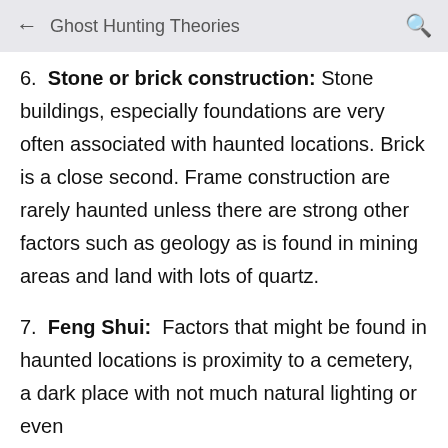Ghost Hunting Theories
6.  Stone or brick construction:  Stone buildings, especially foundations are very often associated with haunted locations. Brick is a close second. Frame construction are rarely haunted unless there are strong other factors such as geology as is found in mining areas and land with lots of quartz.
7.  Feng Shui:  Factors that might be found in haunted locations is proximity to a cemetery, a dark place with not much natural lighting or even